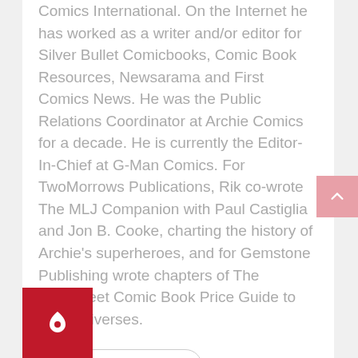Comics International. On the Internet he has worked as a writer and/or editor for Silver Bullet Comicbooks, Comic Book Resources, Newsarama and First Comics News. He was the Public Relations Coordinator at Archie Comics for a decade. He is currently the Editor-In-Chief at G-Man Comics. For TwoMorrows Publications, Rik co-wrote The MLJ Companion with Paul Castiglia and Jon B. Cooke, charting the history of Archie's superheroes, and for Gemstone Publishing wrote chapters of The Overstreet Comic Book Price Guide to Lost Universes.
See author's posts
[Figure (logo): Red square icon with a white heart/pin logo inside]